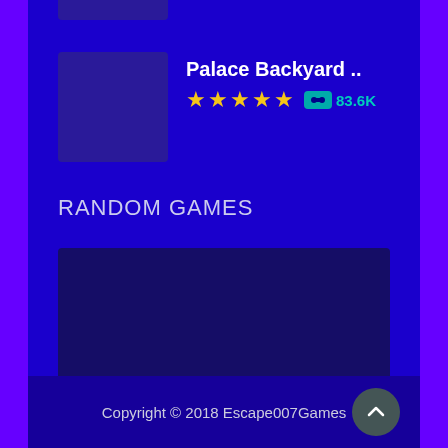[Figure (screenshot): Partial game thumbnail visible at top of page]
Palace Backyard ..
★★★★★ 83.6K
RANDOM GAMES
[Figure (screenshot): Large dark blue rectangular game preview image]
Copyright © 2018 Escape007Games